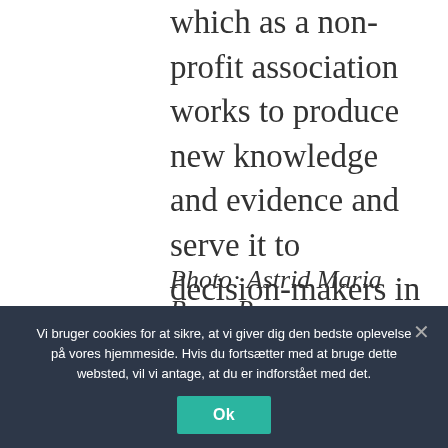which as a non-profit association works to produce new knowledge and evidence and serve it to decision-makers in easy-to-understand form. In addition, he writes books on architecture and urban development, makes documentaries and hosts the podcast Bylyd on architecture and urban development.
Photo: Astrid Maria Busse Rasmussen
Vi bruger cookies for at sikre, at vi giver dig den bedste oplevelse på vores hjemmeside. Hvis du fortsætter med at bruge dette websted, vil vi antage, at du er indforstået med det.
Ok